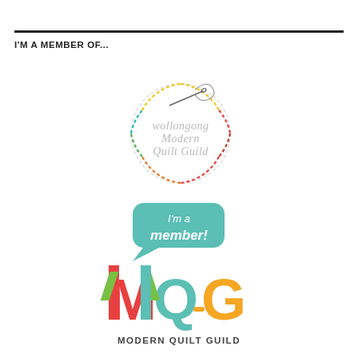I'M A MEMBER OF...
[Figure (logo): Wollongong Modern Quilt Guild circular logo with dashed multicolor border and needle graphic]
[Figure (logo): Modern Quilt Guild logo with speech bubble saying 'I'm a member!' and colorful MQG letters]